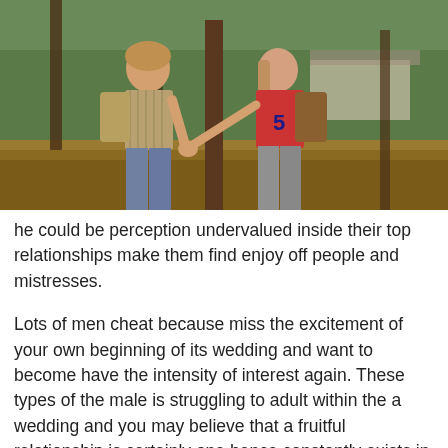[Figure (photo): Two teenagers holding hands outdoors in a wooded area. The boy on the left wears a striped shirt and carries a large backpack. The girl on the right wears a red top and carries a brown backpack. They are standing facing each other among trees with a building visible in the background.]
he could be perception undervalued inside their top relationships make them find enjoy off people and mistresses.
Lots of men cheat because miss the excitement of your own beginning of its wedding and want to become have the intensity of interest again. These types of the male is struggling to adult within the a wedding and you may believe that a fruitful relationship is certainly one hence constantly exists in the a state of increased thinking.